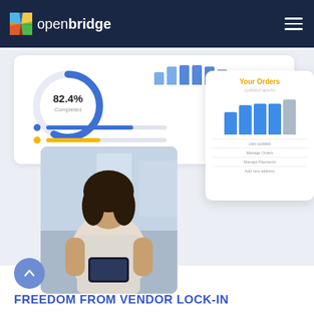openbridge
[Figure (screenshot): Dashboard screenshot showing a donut chart with 82.4% Completed, a calendar widget, progress bars with blue and orange dots, a photo of a woman looking at a phone, and an Orders card with a bar chart showing blue and grey bars, and menu items: Last updated, Manage Orders, Manage Payments, Add new address.]
FREEDOM FROM VENDOR LOCK-IN